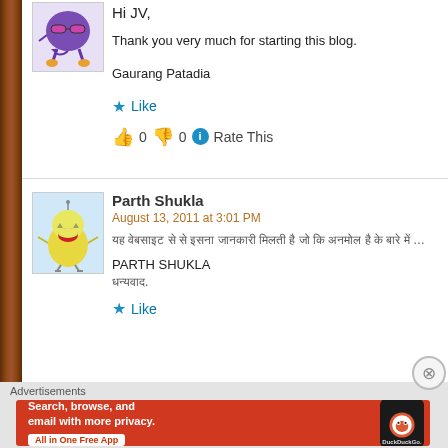[Figure (illustration): Purple cartoon monster avatar with sunglasses]
Hi JV,

Thank you very much for starting this blog.

Gaurang Patadia
Like
👍 0 👎 0 ℹ Rate This
[Figure (illustration): Yellow cartoon bird/chick avatar with red lips]
Parth Shukla
August 13, 2011 at 3:01 PM
[Hindi/Devanagari text] PARTH SHUKLA [Devanagari text].
Like
Advertisements
[Figure (infographic): DuckDuckGo advertisement banner: Search, browse, and email with more privacy. All in One Free App. DuckDuckGo logo on dark phone.]